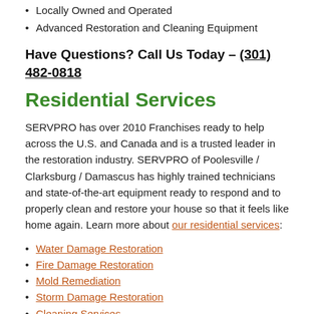Locally Owned and Operated
Advanced Restoration and Cleaning Equipment
Have Questions? Call Us Today – (301) 482-0818
Residential Services
SERVPRO has over 2010 Franchises ready to help across the U.S. and Canada and is a trusted leader in the restoration industry. SERVPRO of Poolesville / Clarksburg / Damascus has highly trained technicians and state-of-the-art equipment ready to respond and to properly clean and restore your house so that it feels like home again. Learn more about our residential services:
Water Damage Restoration
Fire Damage Restoration
Mold Remediation
Storm Damage Restoration
Cleaning Services
Building Services
Commercial Services